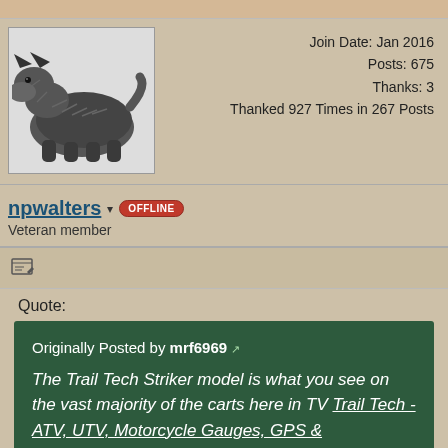[Figure (photo): Scottish Terrier (Scottie dog) illustration used as user avatar]
Join Date: Jan 2016
Posts: 675
Thanks: 3
Thanked 927 Times in 267 Posts
npwalters ▾ OFFLINE
Veteran member
Quote:
Originally Posted by mrf6969
The Trail Tech Striker model is what you see on the vast majority of the carts here in TV Trail Tech - ATV, UTV, Motorcycle Gauges, GPS & Accessories
Yep, and the Yamaha factory installed model is also